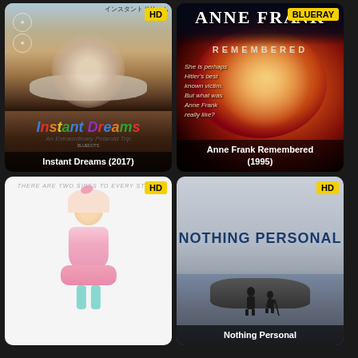[Figure (photo): Movie poster for Instant Dreams (2017) showing a person in a bathtub outdoors with the colorful Instant Dreams title and subtitle An Extraordinary Polaroid Trip. HD badge in top right corner.]
[Figure (photo): Movie poster for Anne Frank Remembered (1995) with dark red tones showing a young girl's face. BLUERAY badge in top right corner. Text includes stylized Anne Frank Remembered title.]
[Figure (photo): Movie poster showing a girl in a pink dress with There Are Two Sides to Every Story text at the top. HD badge in top right corner.]
[Figure (photo): Movie poster for Nothing Personal showing two figures on rocks near water under a grey sky. HD badge in top right corner.]